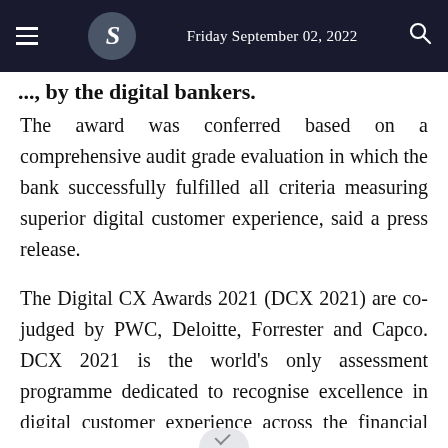Friday September 02, 2022
..., by the digital bankers.
The award was conferred based on a comprehensive audit grade evaluation in which the bank successfully fulfilled all criteria measuring superior digital customer experience, said a press release.
The Digital CX Awards 2021 (DCX 2021) are co-judged by PWC, Deloitte, Forrester and Capco. DCX 2021 is the world's only assessment programme dedicated to recognise excellence in digital customer experience across the financial services sector. The programme exists to assess the rapidly changing expectations of customers in the digital economy.